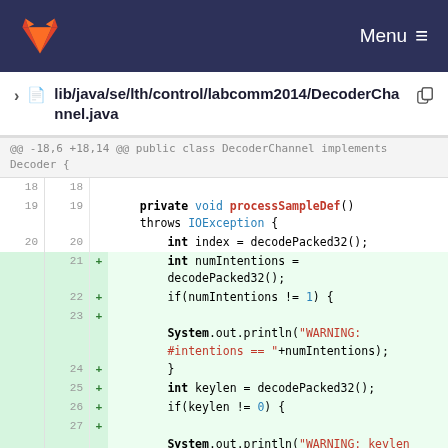Menu
lib/java/se/lth/control/labcomm2014/DecoderChannel.java
[Figure (screenshot): Git diff view of DecoderChannel.java showing added lines 21-27 with Java code for numIntentions, keylen checks and System.out.println warnings.]